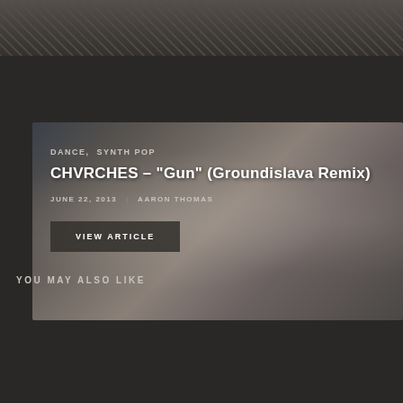[Figure (photo): Top cropped photo strip showing a person in a jacket against a graffiti background]
[Figure (photo): Article card with photo of three band members (CHVRCHES) overlaid with text and a 'VIEW ARTICLE' button]
DANCE,  SYNTH POP
CHVRCHES – "Gun" (Groundislava Remix)
JUNE 22, 2013  |  AARON THOMAS
VIEW ARTICLE
YOU MAY ALSO LIKE
[Figure (photo): Bottom photo card showing dark atmospheric image with blue bokeh lights, possibly DJ equipment or electronic music setup]